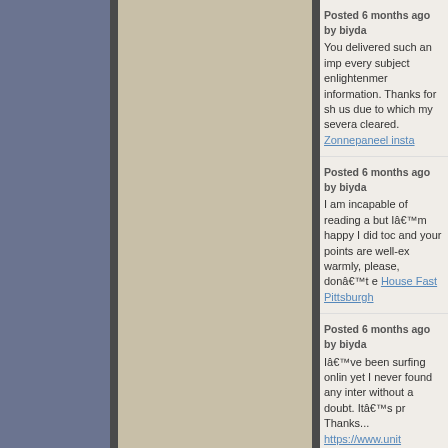Posted 6 months ago by biyda... You delivered such an imp... every subject enlightenmen... information. Thanks for sh... us due to which my severa... cleared. Zonnepaneel insta...
Posted 6 months ago by biyda... I am incapable of reading a... but Iâ€™m happy I did toc... and your points are well-ex... warmly, please, donâ€™t e... House Fast Pittsburgh
Posted 6 months ago by biyda... Iâ€™ve been surfing onlin... yet I never found any inter... without a doubt. Itâ€™s pr... Thanks... https://www.unit...
Posted 2 months ago by biyda... Hello, I have browsed mos... probably where I got the m... my research. Thanks for po... more on this. Are you awa... this subject. hasta yataÃŸÄ...
Posted 2 years ago by biyame... Very good points you wrot...